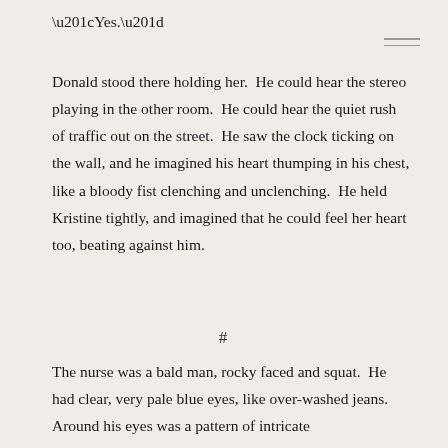“Yes.”
Donald stood there holding her.  He could hear the stereo playing in the other room.  He could hear the quiet rush of traffic out on the street.  He saw the clock ticking on the wall, and he imagined his heart thumping in his chest, like a bloody fist clenching and unclenching.  He held Kristine tightly, and imagined that he could feel her heart too, beating against him.
#
The nurse was a bald man, rocky faced and squat.  He had clear, very pale blue eyes, like over-washed jeans.  Around his eyes was a pattern of intricate